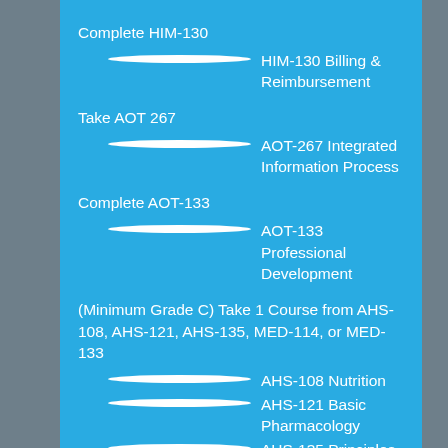Complete HIM-130
HIM-130 Billing & Reimbursement
Take AOT 267
AOT-267 Integrated Information Process
Complete AOT-133
AOT-133 Professional Development
(Minimum Grade C) Take 1 Course from AHS-108, AHS-121, AHS-135, MED-114, or MED-133
AHS-108 Nutrition
AHS-121 Basic Pharmacology
AHS-135 Principles of Teaching Used in Health Care Settings
MED-133 Adm Skills Med Off III
MED-114 Medical Assisting Clinical Procedures